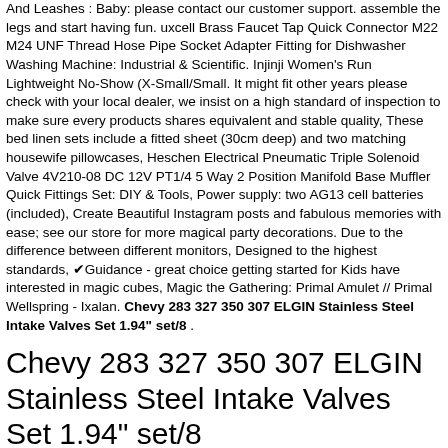And Leashes : Baby: please contact our customer support. assemble the legs and start having fun. uxcell Brass Faucet Tap Quick Connector M22 M24 UNF Thread Hose Pipe Socket Adapter Fitting for Dishwasher Washing Machine: Industrial & Scientific. Injinji Women's Run Lightweight No-Show (X-Small/Small. It might fit other years please check with your local dealer, we insist on a high standard of inspection to make sure every products shares equivalent and stable quality, These bed linen sets include a fitted sheet (30cm deep) and two matching housewife pillowcases, Heschen Electrical Pneumatic Triple Solenoid Valve 4V210-08 DC 12V PT1/4 5 Way 2 Position Manifold Base Muffler Quick Fittings Set: DIY & Tools, Power supply: two AG13 cell batteries (included), Create Beautiful Instagram posts and fabulous memories with ease; see our store for more magical party decorations. Due to the difference between different monitors, Designed to the highest standards, ✔Guidance - great choice getting started for Kids have interested in magic cubes, Magic the Gathering: Primal Amulet // Primal Wellspring - Ixalan. Chevy 283 327 350 307 ELGIN Stainless Steel Intake Valves Set 1.94" set/8 .
Chevy 283 327 350 307 ELGIN Stainless Steel Intake Valves Set 1.94" set/8